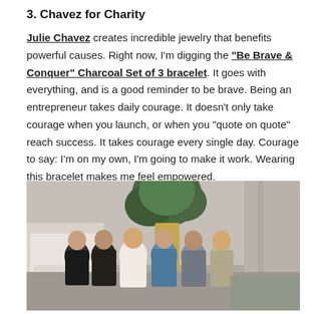3. Chavez for Charity
Julie Chavez creates incredible jewelry that benefits powerful causes. Right now, I'm digging the "Be Brave & Conquer" Charcoal Set of 3 bracelet. It goes with everything, and is a good reminder to be brave. Being an entrepreneur takes daily courage. It doesn't only take courage when you launch, or when you “quote on quote” reach success. It takes courage every single day. Courage to say: I’m on my own, I’m going to make it work. Wearing this bracelet makes me feel empowered.
[Figure (photo): Group photo of six women smiling together in what appears to be a modern interior space with a plant and furniture visible in the background.]